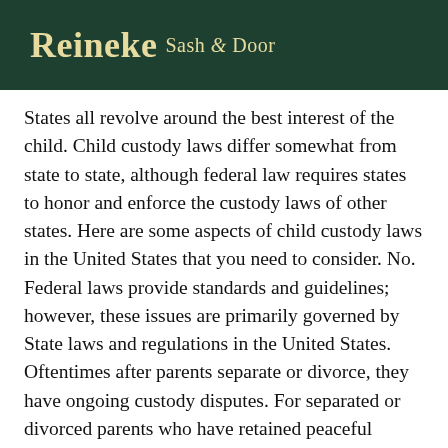Reineke Sash & Door
States all revolve around the best interest of the child. Child custody laws differ somewhat from state to state, although federal law requires states to honor and enforce the custody laws of other states. Here are some aspects of child custody laws in the United States that you need to consider. No. Federal laws provide standards and guidelines; however, these issues are primarily governed by State laws and regulations in the United States. Oftentimes after parents separate or divorce, they have ongoing custody disputes. For separated or divorced parents who have retained peaceful relations, no such issues have occurred. The possibility of a complication in this procedure increases significantly if the child has a physical home away from the country. The UCCJEA (Uniform Child Custody Jurisdiction and Enforcement Act) is a federal